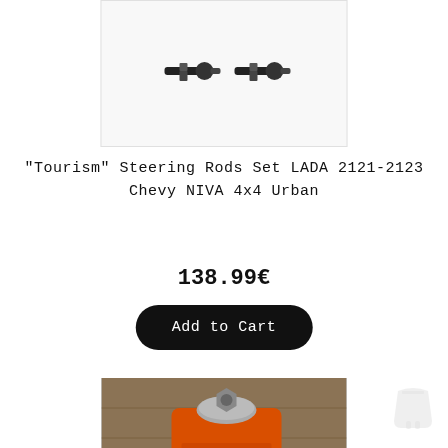[Figure (photo): Product photo showing two steering rod ball joints on white background]
"Tourism" Steering Rods Set LADA 2121-2123 Chevy NIVA 4x4 Urban
138.99€
Add to Cart
[Figure (photo): Close-up photo of a red and silver steering component part on wooden floor background]